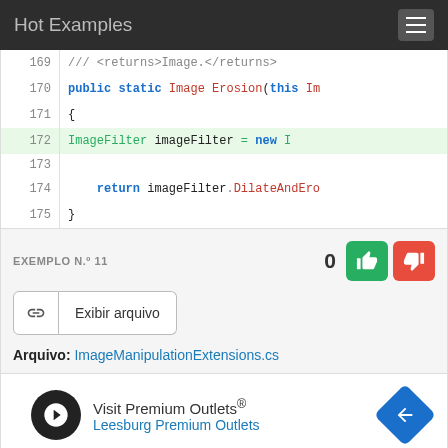Hot Examples
[Figure (screenshot): Code snippet showing lines 169-175 of a C# file with syntax highlighting. Line 172 is highlighted in green. Code shows: 169: /// <returns>Image.</returns>, 170: public static Image Erosion(this Im..., 171: {, 172: ImageFilter imageFilter = new I..., 173: (blank), 174: return imageFilter.DilateAndEro..., 175: }]
EXEMPLO N.º 11
0
Exibir arquivo
Arquivo: ImageManipulationExtensions.cs
[Figure (infographic): Advertisement for Visit Premium Outlets® - Leesburg Premium Outlets with logo and navigation arrow icon]